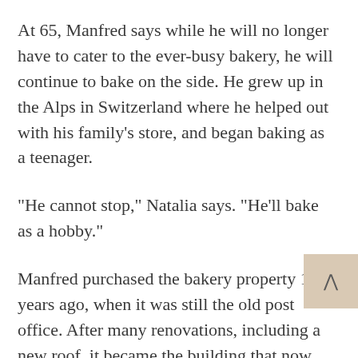At 65, Manfred says while he will no longer have to cater to the ever-busy bakery, he will continue to bake on the side. He grew up in the Alps in Switzerland where he helped out with his family’s store, and began baking as a teenager.
“He cannot stop,” Natalia says. “He’ll bake as a hobby.”
Manfred purchased the bakery property 10 years ago, when it was still the old post office. After many renovations, including a new roof, it became the building that now stands on Main Street.
“People stop here from all over,” Manfred says. He developed all the recipes himself. “They stop for world-